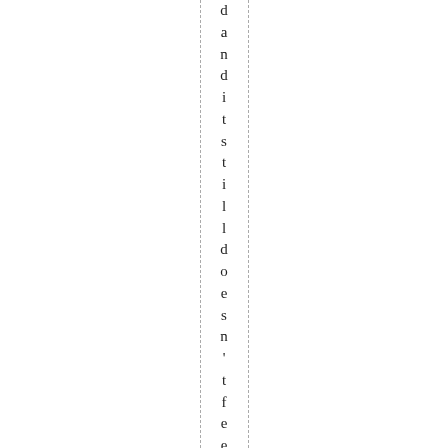d and it still doesn't feel any light